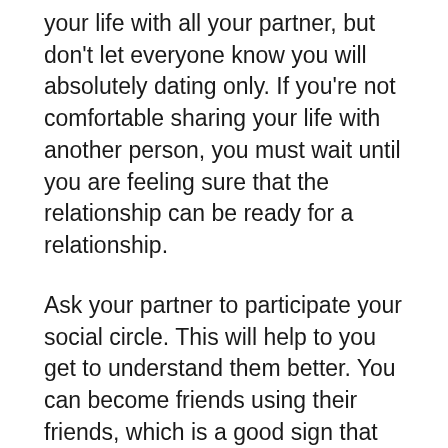your life with all your partner, but don't let everyone know you will absolutely dating only. If you're not comfortable sharing your life with another person, you must wait until you are feeling sure that the relationship can be ready for a relationship.
Ask your partner to participate your social circle. This will help to you get to understand them better. You can become friends using their friends, which is a good sign that you share similar interests and values. Should your partner is not a member of the social circle, they're probably not a very good candidate for internet dating exclusively. Although this doesn't signify you can't possess other romantic relationships. It's that you need to be mindful of the restrictions.